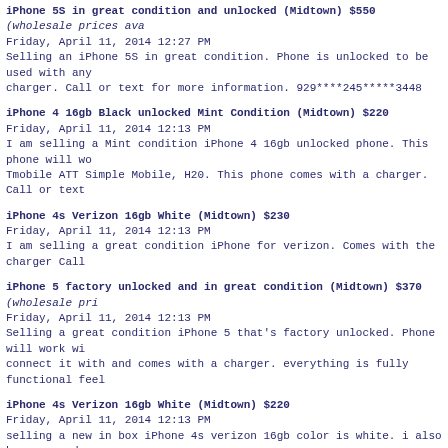iPhone 5S in great condition and unlocked (Midtown) $550 (wholesale prices ava
Friday, April 11, 2014 12:27 PM
Selling an iPhone 5S in great condition. Phone is unlocked to be used with any
charger. Call or text for more information. 929****245*****3448
iPhone 4 16gb Black unlocked Mint Condition (Midtown) $220
Friday, April 11, 2014 12:13 PM
I am selling a Mint condition iPhone 4 16gb unlocked phone. This phone will wo
Tmobile ATT Simple Mobile, H20. This phone comes with a charger. Call or text
iPhone 4s Verizon 16gb White (Midtown) $230
Friday, April 11, 2014 12:13 PM
I am selling a great condition iPhone for verizon. Comes with the charger Call
iPhone 5 factory unlocked and in great condition (Midtown) $370 (wholesale pri
Friday, April 11, 2014 12:13 PM
Selling a great condition iPhone 5 that's factory unlocked. Phone will work wi
connect it with and comes with a charger. everything is fully functional feel
iPhone 4s Verizon 16gb White (Midtown) $220
Friday, April 11, 2014 12:13 PM
selling a new in box iPhone 4s verizon 16gb color is white. i also have a used
$170 call/text 929*-245-*3448 let me know if youre interested in either phone,
be specific when calling [...]
iPhone 4s Verizon 16gb White (Midtown) $220
Friday, April 11, 2014 12:12 PM
selling a new in box iPhone 4s verizon 16gb color is white. i also have a used